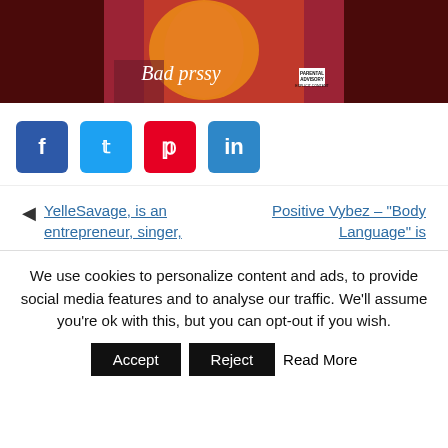[Figure (photo): Album cover image with dark red background, showing a woman in orange/red outfit with text 'Bad prssy' and explicit content badge]
f  (Facebook share button)
t  (Twitter share button)
p  (Pinterest share button)
in  (LinkedIn share button)
◄  YelleSavage, is an entrepreneur, singer,
Positive Vybez – "Body Language" is
We use cookies to personalize content and ads, to provide social media features and to analyse our traffic. We'll assume you're ok with this, but you can opt-out if you wish.  Accept  Reject  Read More